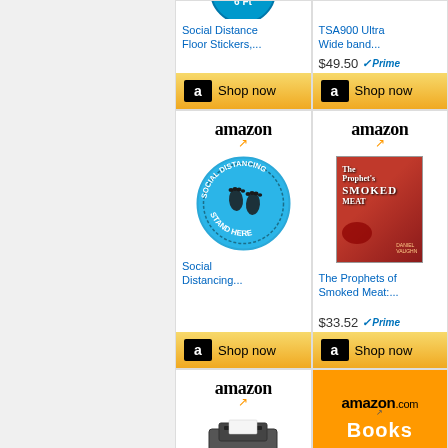[Figure (screenshot): Amazon product listing grid showing Social Distance Floor Stickers, TSA900 Ultra Wide band, Social Distancing Stand Here sticker, The Prophets of Smoked Meat book, and partial bottom row with Amazon logo cells and amazon.com Books orange tile]
Social Distance Floor Stickers,...
TSA900 Ultra Wide band...
$49.50
Shop now
Shop now
Social Distancing...
The Prophets of Smoked Meat:...
$33.52
Shop now
Shop now
Books